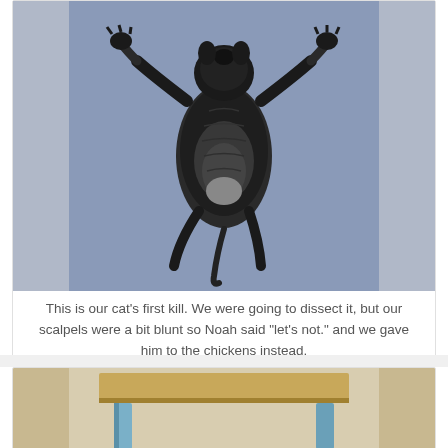[Figure (photo): Photo of a dead small furry animal (rodent/squirrel) lying on its back on a blue surface, with legs splayed outward, viewed from above.]
This is our cat's first kill. We were going to dissect it, but our scalpels were a bit blunt so Noah said "let's not." and we gave him to the chickens instead.
[Figure (photo): Partial photo showing a wooden table or desk with a light blue base/legs, on a light background.]